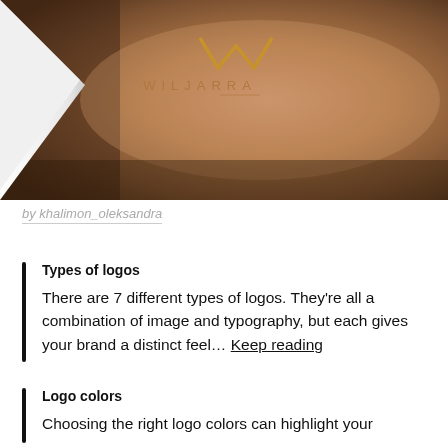[Figure (photo): A close-up photo of a cylindrical kraft paper tube/roll with a debossed or letterpress logo: a geometric 'W' shape made of triangles at the top, and the text 'WILJARRA' below it in spaced capital letters. A white knife blade is partially visible on the left side of the image.]
by khalimon_oleksandra
Types of logos
There are 7 different types of logos. They're all a combination of image and typography, but each gives your brand a distinct feel… Keep reading
Logo colors
Choosing the right logo colors can highlight your